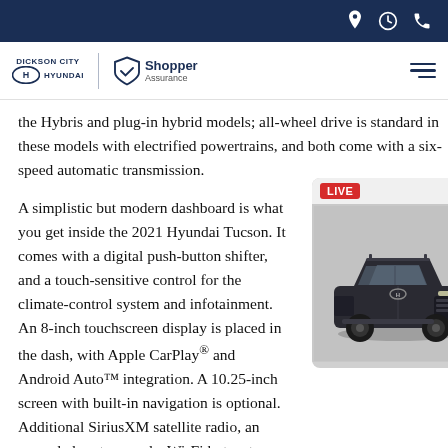Dickson City Hyundai | Shopper Assurance [navigation bar with icons]
the Hybris and plug-in hybrid models; all-wheel drive is standard in these models with electrified powertrains, and both come with a six-speed automatic transmission.
A simplistic but modern dashboard is what you get inside the 2021 Hyundai Tucson. It comes with a digital push-button shifter, and a touch-sensitive control for the climate-control system and infotainment. An 8-inch touchscreen display is placed in the dash, with Apple CarPlay® and Android Auto™ integration. A 10.25-inch screen with built-in navigation is optional. Additional SiriusXM satellite radio, an upgraded audio system, and a Wi-Fi hotspot come with the 2021 Hyundai Tucson. The higher trims come with Hyundai's smartphone app that provides lock-and-unlock features and
[Figure (photo): Live video overlay showing a dark-colored Hyundai SUV (Palisade) on a grey background with a LIVE badge in red]